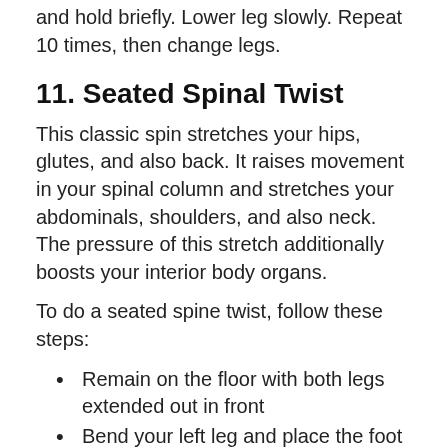and hold briefly. Lower leg slowly. Repeat 10 times, then change legs.
11. Seated Spinal Twist
This classic spin stretches your hips, glutes, and also back. It raises movement in your spinal column and stretches your abdominals, shoulders, and also neck. The pressure of this stretch additionally boosts your interior body organs.
To do a seated spine twist, follow these steps:
Remain on the floor with both legs extended out in front
Bend your left leg and place the foot over the...